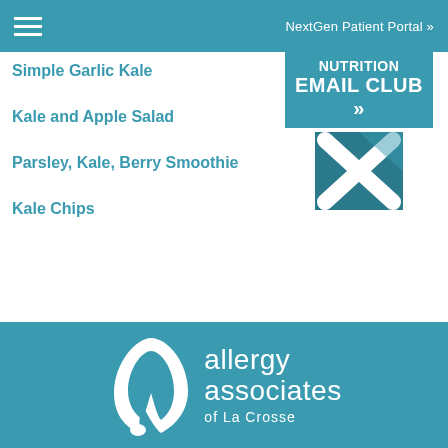NextGen Patient Portal »
[Figure (infographic): Nutrition Email Club banner in teal with bold white text reading NUTRITION EMAIL CLUB >>]
[Figure (logo): Teal square icon with white X cross pattern]
Simple Garlic Kale
Kale and Apple Salad
Parsley, Kale, Berry Smoothie
Kale Chips
[Figure (logo): Allergy Associates of La Crosse logo: white stylized letter A with drop on teal background, with text 'allergy associates of La Crosse' in white]